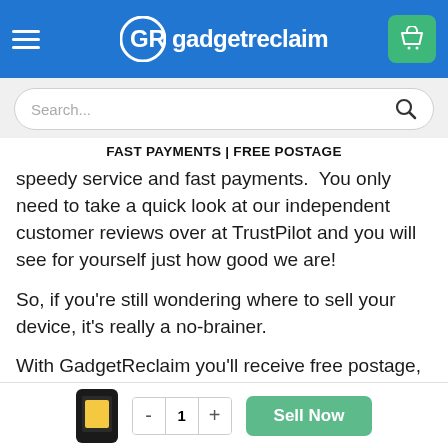gadgetreclaim
FAST PAYMENTS | FREE POSTAGE
speedy service and fast payments.  You only need to take a quick look at our independent customer reviews over at TrustPilot and you will see for yourself just how good we are!
So, if you’re still wondering where to sell your device, it’s really a no-brainer.
With GadgetReclaim you’ll receive free postage, a fast and friendly service, speedy payments and an overall great experience.  As well as that, you get some extra cash for tha…nted gadget